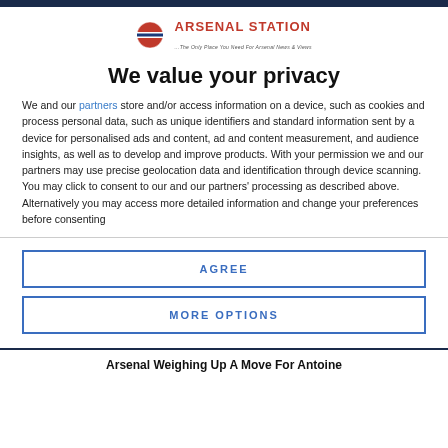[Figure (logo): Arsenal Station logo with circular red/blue Underground-style roundel and red brand name text]
We value your privacy
We and our partners store and/or access information on a device, such as cookies and process personal data, such as unique identifiers and standard information sent by a device for personalised ads and content, ad and content measurement, and audience insights, as well as to develop and improve products. With your permission we and our partners may use precise geolocation data and identification through device scanning. You may click to consent to our and our partners' processing as described above. Alternatively you may access more detailed information and change your preferences before consenting or to refuse consenting. Please note that some processing of...
AGREE
MORE OPTIONS
Arsenal Weighing Up A Move For Antoine